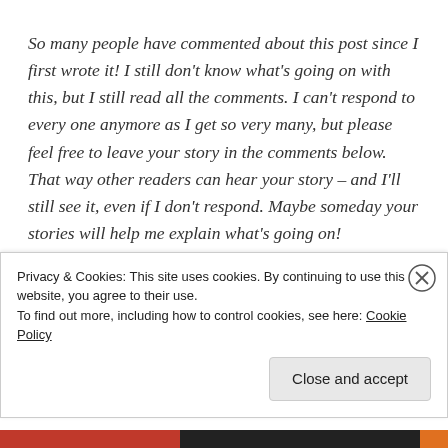So many people have commented about this post since I first wrote it! I still don't know what's going on with this, but I still read all the comments. I can't respond to every one anymore as I get so very many, but please feel free to leave your story in the comments below. That way other readers can hear your story – and I'll still see it, even if I don't respond. Maybe someday your stories will help me explain what's going on!
Unless otherwise stated, all text, images, and video
Privacy & Cookies: This site uses cookies. By continuing to use this website, you agree to their use.
To find out more, including how to control cookies, see here: Cookie Policy